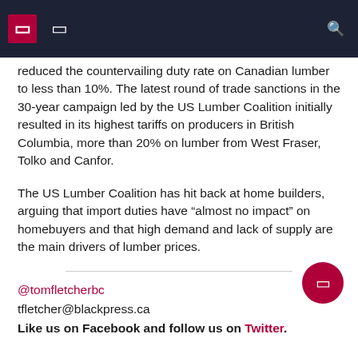navigation header with icons
reduced the countervailing duty rate on Canadian lumber to less than 10%. The latest round of trade sanctions in the 30-year campaign led by the US Lumber Coalition initially resulted in its highest tariffs on producers in British Columbia, more than 20% on lumber from West Fraser, Tolko and Canfor.
The US Lumber Coalition has hit back at home builders, arguing that import duties have “almost no impact” on homebuyers and that high demand and lack of supply are the main drivers of lumber prices.
@tomfletcherbc
tfletcher@blackpress.ca
Like us on Facebook and follow us on Twitter.
British Columbia Lumber Policy